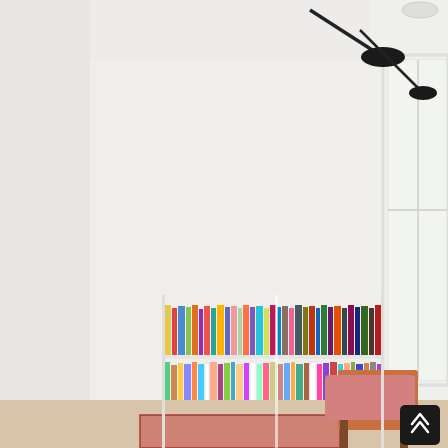[Figure (photo): Interior living room photograph showing a tall wall-mounted white bookshelf filled with colorful books arranged on 7 shelves, positioned between a white fireplace mantle on the left and a bright window on the right. A leather chair with a pink cushion is visible in the foreground right. Two dark lamp fixtures hang from the ceiling on the upper right. Framed artwork leans against the fireplace mantle. The room has white walls and ceiling.]